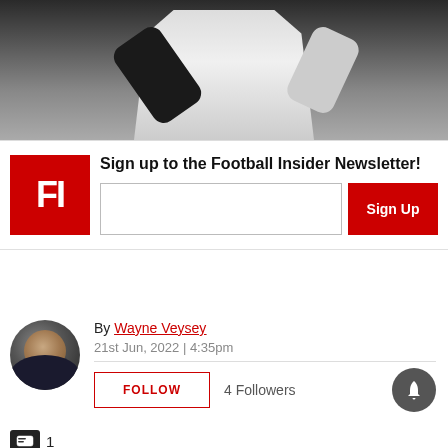[Figure (photo): Sports photo showing a football player in white jersey, dark background, arms raised]
Sign up to the Football Insider Newsletter!
[Figure (logo): Football Insider red square logo with white 'FI' text]
By Wayne Veysey
21st Jun, 2022 | 4:35pm
FOLLOW   4 Followers
1